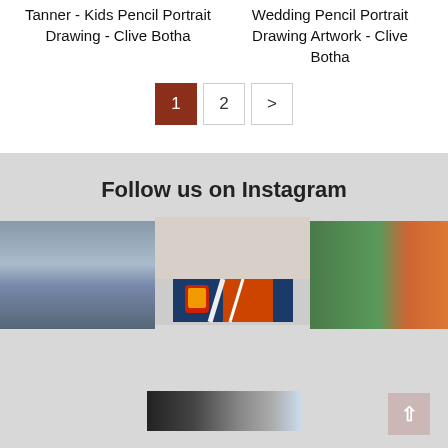Tanner - Kids Pencil Portrait Drawing - Clive Botha
Wedding Pencil Portrait Drawing Artwork - Clive Botha
1  2  >
Follow us on Instagram
[Figure (photo): Instagram photo grid showing three images: left partial image with striped/abstract pattern, center image of pendant lights hanging over artwork with blue and orange stripes and a shield logo, right partial image with green and orange abstract stripe pattern. Below, a fourth partial image with dark and light horizontal stripes.]